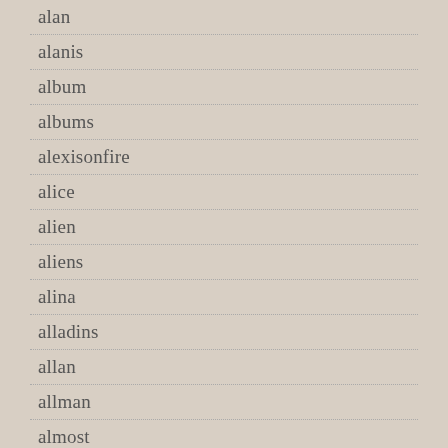alan
alanis
album
albums
alexisonfire
alice
alien
aliens
alina
alladins
allan
allman
almost
alton
amari
amazing